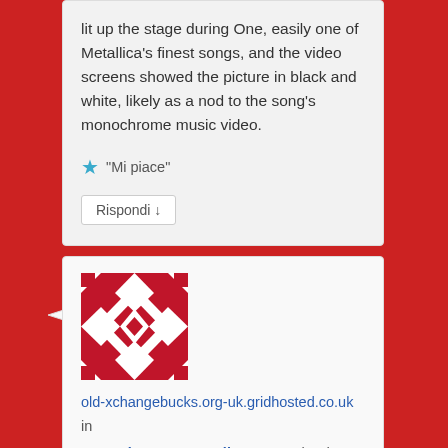lit up the stage during One, easily one of Metallica's finest songs, and the video screens showed the picture in black and white, likely as a nod to the song's monochrome music video.
★ "Mi piace"
Rispondi ↓
[Figure (illustration): Red and white quilt/geometric pattern square avatar image]
old-xchangebucks.org-uk.gridhosted.co.uk in novembre 19, 2015 alle 8:59 am ha detto:
You actually make it appear really easy together with your presentation but I in finding this matter to be really one thing which I feel I might never understand. It kind of feels too complicated and